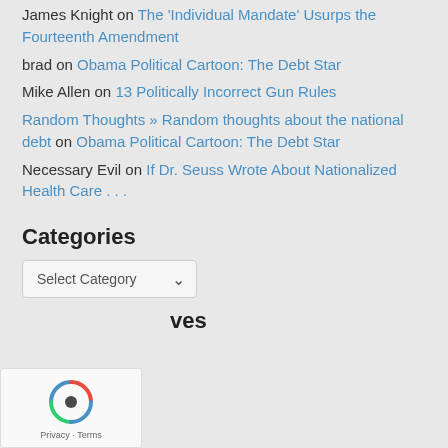James Knight on The 'Individual Mandate' Usurps the Fourteenth Amendment
brad on Obama Political Cartoon: The Debt Star
Mike Allen on 13 Politically Incorrect Gun Rules
Random Thoughts » Random thoughts about the national debt on Obama Political Cartoon: The Debt Star
Necessary Evil on If Dr. Seuss Wrote About Nationalized Health Care . . .
Categories
Select Category
Archives